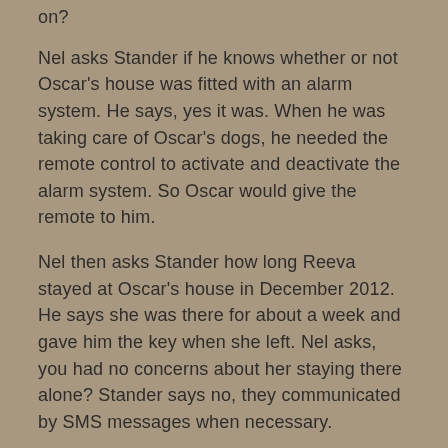on?
Nel asks Stander if he knows whether or not Oscar's house was fitted with an alarm system. He says, yes it was. When he was taking care of Oscar's dogs, he needed the remote control to activate and deactivate the alarm system. So Oscar would give the remote to him.
Nel then asks Stander how long Reeva stayed at Oscar's house in December 2012. He says she was there for about a week and gave him the key when she left. Nel asks, you had no concerns about her staying there alone? Stander says no, they communicated by SMS messages when necessary.
Nel rests. Oldwage is back up for a few issues.